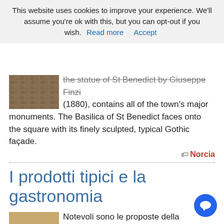This website uses cookies to improve your experience. We'll assume you're ok with this, but you can opt-out if you wish. Read more  Accept
the statue of St Benedict by Giuseppe Finzi (1880), contains all of the town's major monuments. The Basilica of St Benedict faces onto the square with its finely sculpted, typical Gothic façade.
Norcia
I prodotti tipici e la gastronomia
Notevoli sono le proposte della gastronomia locale, le cui usanze sono tradizionalmente strettamente connesse ai prodotti disponibili in questa area montana: tartufi neri di Norcia, pecorino di Norcia, norcineria, funghi, miele, farro lenticchie di Castelluccio, asparagi selvatici, trote Fario,